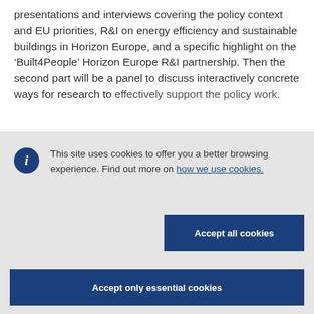presentations and interviews covering the policy context and EU priorities, R&I on energy efficiency and sustainable buildings in Horizon Europe, and a specific highlight on the 'Built4People' Horizon Europe R&I partnership. Then the second part will be a panel to discuss interactively concrete ways for research to effectively support the policy work.
This site uses cookies to offer you a better browsing experience. Find out more on how we use cookies.